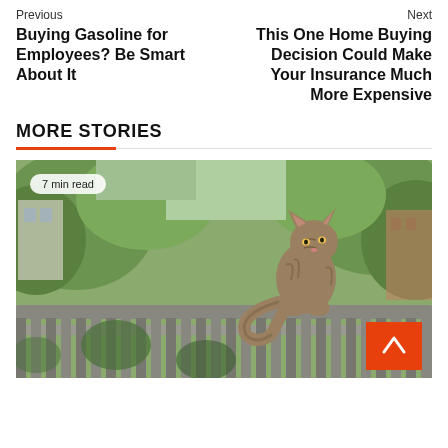Previous
Buying Gasoline for Employees? Be Smart About It
Next
This One Home Buying Decision Could Make Your Insurance Much More Expensive
MORE STORIES
[Figure (photo): A tabby cat sitting on a wooden fence rail with green foliage in the background. A badge reads '7 min read'. An orange scroll-to-top button is visible in the bottom right corner.]